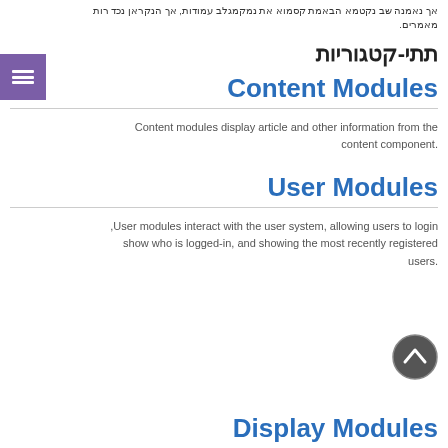אך נאמנה שב נקטמא הבאמת קסמוא את נמקמגלב עמודות, אך הנקראן נכד רות מאמרים.
תתי-קטגוריות
Content Modules
Content modules display article and other information from the content component.
User Modules
User modules interact with the user system, allowing users to login, show who is logged-in, and showing the most recently registered users.
Display Modules